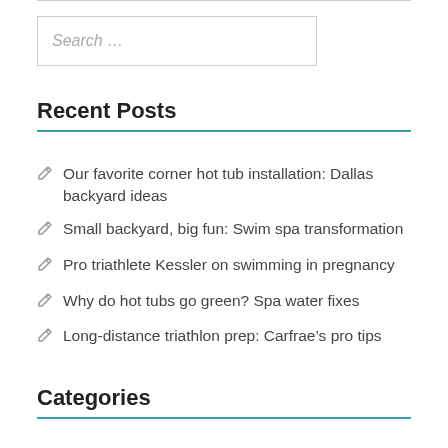[Figure (other): Search input box with placeholder text 'Search ...']
Recent Posts
Our favorite corner hot tub installation: Dallas backyard ideas
Small backyard, big fun: Swim spa transformation
Pro triathlete Kessler on swimming in pregnancy
Why do hot tubs go green? Spa water fixes
Long-distance triathlon prep: Carfrae’s pro tips
Categories